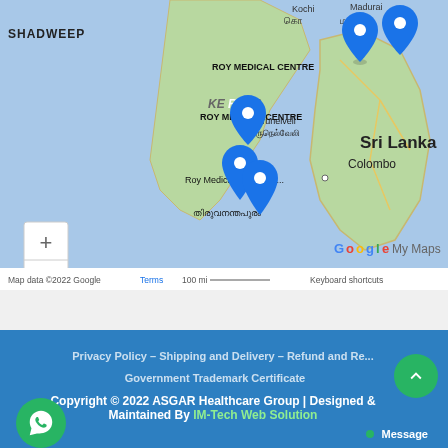[Figure (map): Google My Maps screenshot showing southern India and Sri Lanka with multiple Roy Medical Centre location pins. Labels include SHADWEEP, KERALA, Tirunelveli, Sri Lanka, Colombo. Map data ©2022 Google.]
Privacy Policy – Shipping and Delivery – Refund and Re... Government Trademark Certificate
Copyright © 2022 ASGAR Healthcare Group | Designed & Maintained By IM-Tech Web Solution
Message